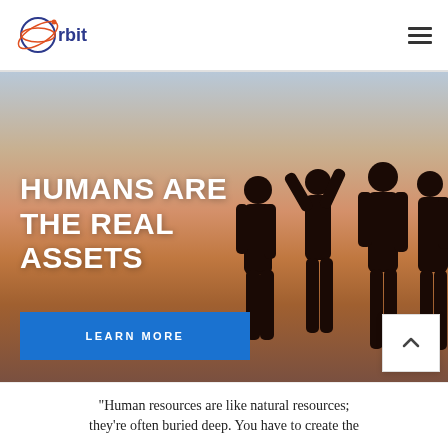rbit (Orbit logo)
[Figure (photo): Hero image showing silhouettes of people standing against a warm sunset sky, with orange and golden hues. A bold white headline 'HUMANS ARE THE REAL ASSETS' overlaid on the left side, and a blue 'LEARN MORE' button below.]
HUMANS ARE THE REAL ASSETS
LEARN MORE
"Human resources are like natural resources; they're often buried deep. You have to create the